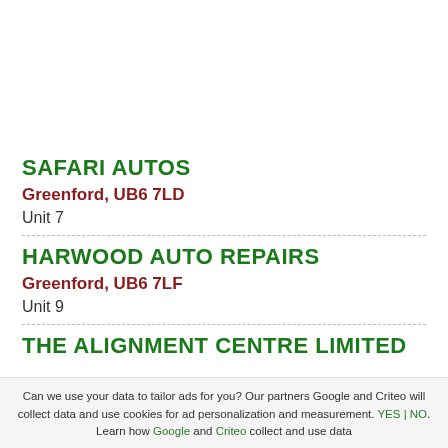SAFARI AUTOS
Greenford, UB6 7LD
Unit 7
HARWOOD AUTO REPAIRS
Greenford, UB6 7LF
Unit 9
THE ALIGNMENT CENTRE LIMITED
Can we use your data to tailor ads for you? Our partners Google and Criteo will collect data and use cookies for ad personalization and measurement. YES | NO. Learn how Google and Criteo collect and use data